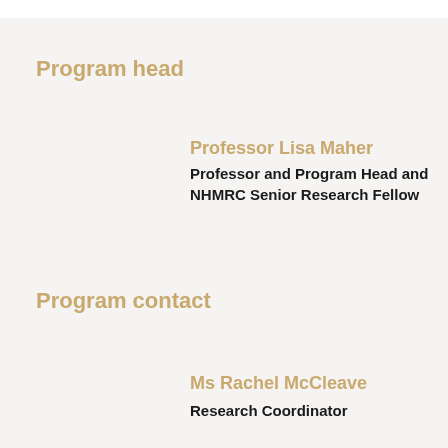Program head
Professor Lisa Maher
Professor and Program Head and NHMRC Senior Research Fellow
Program contact
Ms Rachel McCleave
Research Coordinator